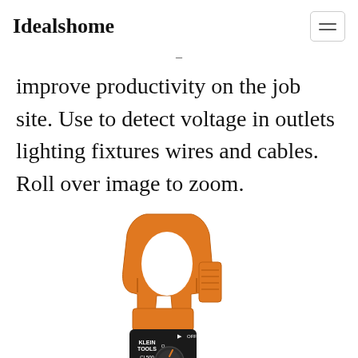Idealshome
improve productivity on the job site. Use to detect voltage in outlets lighting fixtures wires and cables. Roll over image to zoom.
[Figure (photo): Klein Tools CL500 clamp meter with orange and black body, showing the clamp jaw at top in orange and the rotary selector dial at bottom with OFF label, brand name KLEIN TOOLS and model CL500 visible on the body.]